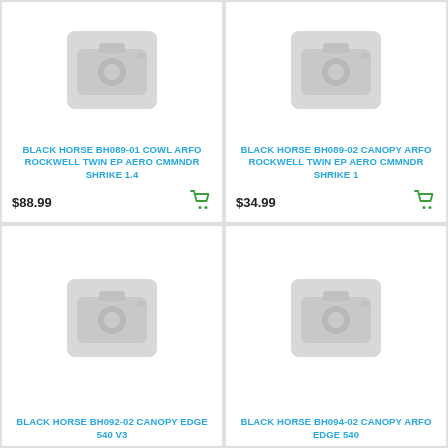[Figure (photo): Product placeholder image - camera icon on grey background]
BLACK HORSE BH089-01 COWL ARFO ROCKWELL TWIN EP AERO CMMNDR SHRIKE 1.4
$88.99
[Figure (photo): Product placeholder image - camera icon on grey background]
BLACK HORSE BH089-02 CANOPY ARFO ROCKWELL TWIN EP AERO CMMNDR SHRIKE 1
$34.99
[Figure (photo): Product placeholder image - camera icon on grey background]
BLACK HORSE BH092-02 CANOPY EDGE 540 V3
[Figure (photo): Product placeholder image - camera icon on grey background]
BLACK HORSE BH094-02 CANOPY ARFO EDGE 540